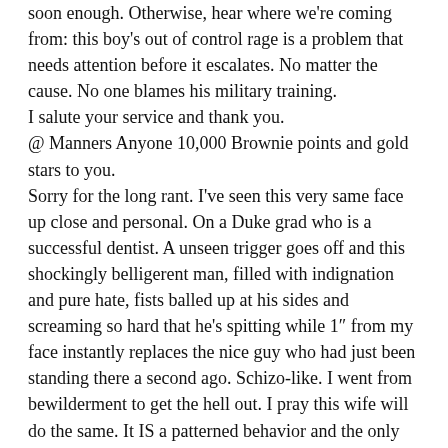soon enough. Otherwise, hear where we're coming from: this boy's out of control rage is a problem that needs attention before it escalates. No matter the cause. No one blames his military training.
I salute your service and thank you.
@ Manners Anyone 10,000 Brownie points and gold stars to you.
Sorry for the long rant. I've seen this very same face up close and personal. On a Duke grad who is a successful dentist. A unseen trigger goes off and this shockingly belligerent man, filled with indignation and pure hate, fists balled up at his sides and screaming so hard that he's spitting while 1″ from my face instantly replaces the nice guy who had just been standing there a second ago. Schizo-like. I went from bewilderment to get the hell out. I pray this wife will do the same. It IS a patterned behavior and the only